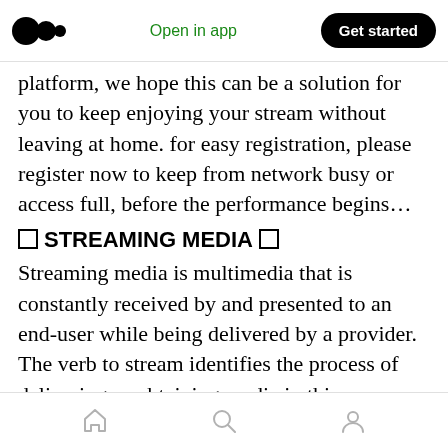Open in app | Get started
platform, we hope this can be a solution for you to keep enjoying your stream without leaving at home. for easy registration, please register now to keep from network busy or access full, before the performance begins…
□ STREAMING MEDIA □
Streaming media is multimedia that is constantly received by and presented to an end-user while being delivered by a provider. The verb to stream identifies the process of delivering or obtaining media in this manner.[clarification needed] Streaming refers to the delivery method of the medium, instead of the medium itself.
Home | Search | Profile